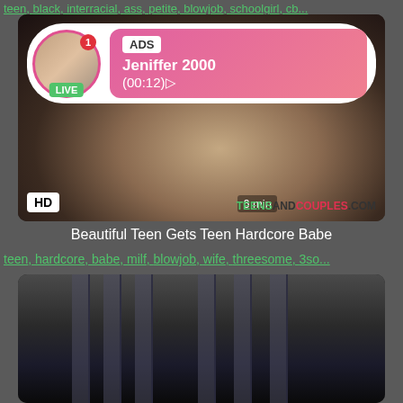teen, black, interracial, ass, petite, blowjob, schoolgirl, cb...
[Figure (screenshot): Video thumbnail with ad overlay showing user Jeniffer 2000 with LIVE badge and ADS label, HD badge, duration 6 min, teensandcouples.com watermark]
Beautiful Teen Gets Teen Hardcore Babe
teen, hardcore, babe, milf, blowjob, wife, threesome, 3so...
[Figure (screenshot): Second video thumbnail showing dark interior scene with vertical bars/shelving]